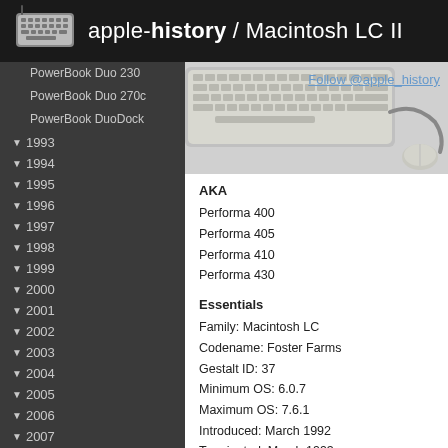apple-history / Macintosh LC II
PowerBook Duo 230
PowerBook Duo 270c
PowerBook DuoDock
▼ 1993
▼ 1994
▼ 1995
▼ 1996
▼ 1997
▼ 1998
▼ 1999
▼ 2000
▼ 2001
▼ 2002
▼ 2003
▼ 2004
▼ 2005
▼ 2006
▼ 2007
▼ 2008
▼ 2009
▼ 2010
▼ 2011
▼ 2012
▼ 2013
[Figure (photo): Apple keyboard and mouse on grey background with Follow @apple_history link overlay]
AKA
Performa 400
Performa 405
Performa 410
Performa 430
Essentials
Family: Macintosh LC
Codename: Foster Farms
Gestalt ID: 37
Minimum OS: 6.0.7
Maximum OS: 7.6.1
Introduced: March 1992
Terminated: March 1993
Processor
CPU: Motorola MC68030
CPU Speed: 16 MHz
FPU: none (upgradable)
Bus Speed: 16 MHz
Register Width: 32-bit
Data Bus Width: 16-bit
Address Bus Width: 32-bit